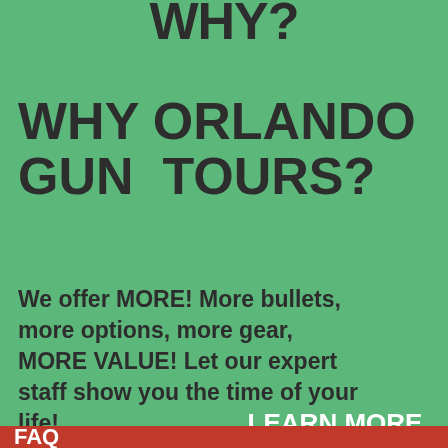WHY?
WHY ORLANDO GUN TOURS?
We offer MORE! More bullets, more options, more gear, MORE VALUE! Let our expert staff show you the time of your life!
LEARN MORE
CLICK HERE
FAQ